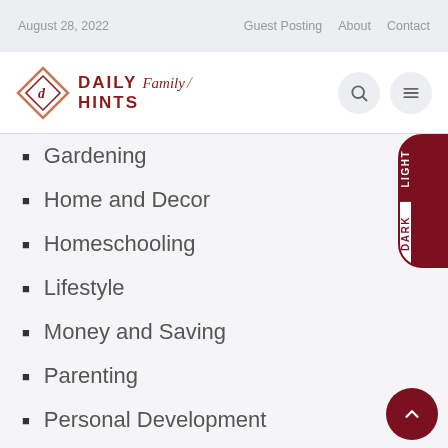August 28, 2022   Guest Posting   About   Contact
[Figure (logo): Daily Family Hints logo with red diamond shape and stylized text]
Gardening
Home and Decor
Homeschooling
Lifestyle
Money and Saving
Parenting
Personal Development